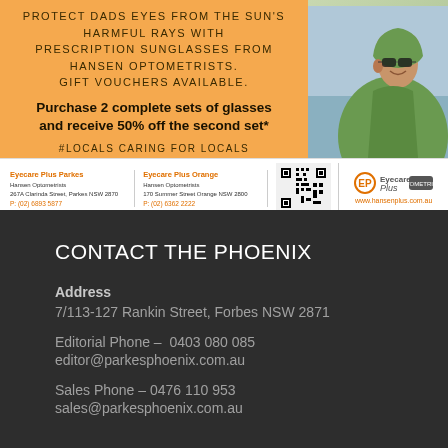[Figure (infographic): Advertisement for Eyecare Plus / Hansen Optometrists with orange background, text about prescription sunglasses and 50% off promotion, and photo of man in green hoodie]
Address
7/113-127 Rankin Street, Forbes NSW 2871
Editorial Phone – 0403 080 085
editor@parkesphoenix.com.au
Sales Phone – 0476 110 953
sales@parkesphoenix.com.au